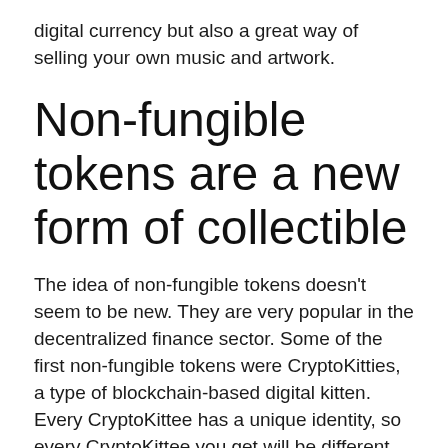digital currency but also a great way of selling your own music and artwork.
Non-fungible tokens are a new form of collectible
The idea of non-fungible tokens doesn't seem to be new. They are very popular in the decentralized finance sector. Some of the first non-fungible tokens were CryptoKitties, a type of blockchain-based digital kitten. Every CryptoKittee has a unique identity, so every CryptoKittee you get will be different from the one you send. CryptoPunks are another popular token that is not fungible.